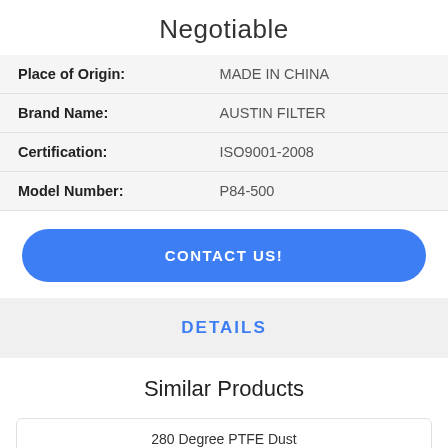Negotiable
| Place of Origin: | MADE IN CHINA |
| Brand Name: | AUSTIN FILTER |
| Certification: | ISO9001-2008 |
| Model Number: | P84-500 |
CONTACT US!
DETAILS
Similar Products
280 Degree PTFE Dust